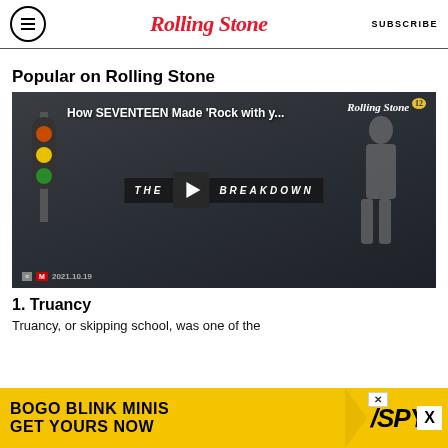Rolling Stone | SUBSCRIBE
Popular on Rolling Stone
[Figure (screenshot): Video thumbnail for 'How SEVENTEEN Made Rock with y...' - The Breakdown series on Rolling Stone, dated 2021.10.19, with play button overlay]
1. Truancy
Truancy, or skipping school, was one of the
[Figure (infographic): Advertisement banner: BOGO BLINK MINIS GET YOURS NOW - SPY logo in yellow background]